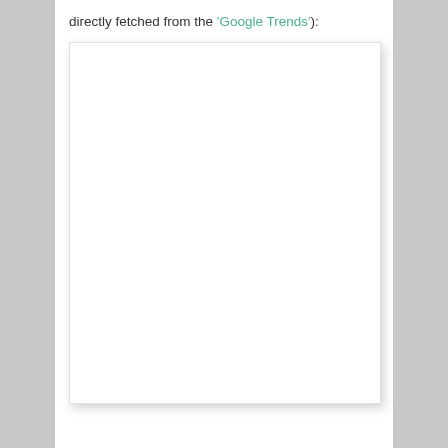directly fetched from the 'Google Trends'):
[Figure (other): A large white blank image box with a light drop shadow, representing a placeholder for a Google Trends screenshot or chart.]